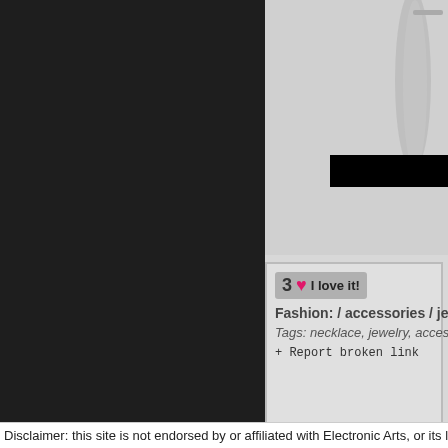[Figure (screenshot): Dark left sidebar panel of a website, approximately 265px wide, dark charcoal/near-black background.]
[Figure (photo): Product image area showing a silver/metallic necklace or jewelry item on a light grey background, partially cropped. A black redaction bar overlays part of the image.]
3 ❤ I love it!
Fashion: / accessories / jewelry
Tags: necklace, jewelry, accessory
+ Report broken link
Disclaimer: this site is not endorsed by or affiliated with Electronic Arts, or its license